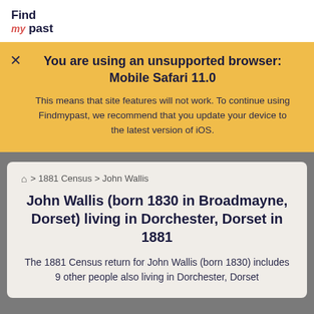Find my past
You are using an unsupported browser: Mobile Safari 11.0

This means that site features will not work. To continue using Findmypast, we recommend that you update your device to the latest version of iOS.
⌂ > 1881 Census > John Wallis
John Wallis (born 1830 in Broadmayne, Dorset) living in Dorchester, Dorset in 1881
The 1881 Census return for John Wallis (born 1830) includes 9 other people also living in Dorchester, Dorset